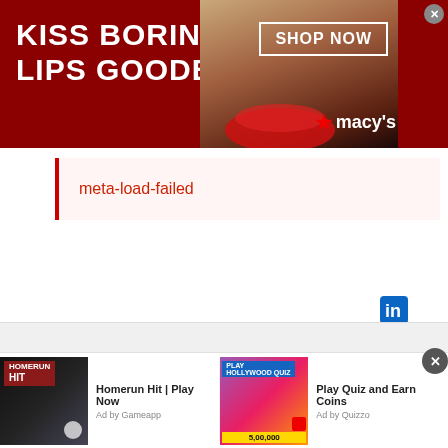[Figure (screenshot): Macy's advertisement banner with dark red background showing 'KISS BORING LIPS GOODBYE' text, a SHOP NOW button, Macy's star logo, and a woman's face with red lips in the center]
meta-load-failed
[Figure (screenshot): LinkedIn icon (in logo)]
[Figure (screenshot): Homerun Hit ad - Play Now, Ad by Gameapp. Shows baseball game imagery.]
Homerun Hit | Play Now
Ad by Gameapp
[Figure (screenshot): Play Quiz and Earn Coins ad - Ad by Quizzo. Shows a man in tuxedo with game show overlay.]
Play Quiz and Earn Coins
Ad by Quizzo